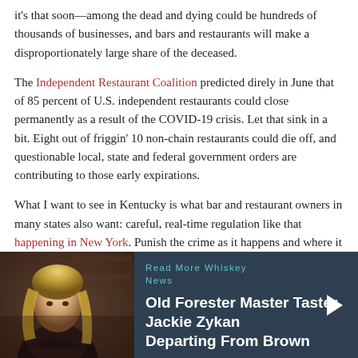it's that soon—among the dead and dying could be hundreds of thousands of businesses, and bars and restaurants will make a disproportionately large share of the deceased.
The Independent Restaurant Coalition predicted direly in June that of 85 percent of U.S. independent restaurants could close permanently as a result of the COVID-19 crisis. Let that sink in a bit. Eight out of friggin' 10 non-chain restaurants could die off, and questionable local, state and federal government orders are contributing to those early expirations.
What I want to see in Kentucky is what bar and restaurant owners in many states also want: careful, real-time regulation like that happening in New York. Punish the crime as it happens and where it happens without closing all bars or severely limiting restaurant seating capacity. No one wins when that happens.
[Figure (photo): Promotional card with a photo of a blonde woman smiling in a dark restaurant setting on the left, and dark blue background on the right with text reading 'Read More Whiskey News' and 'Old Forester Master Taster Jackie Zykan Departing From Brown' with a white right-arrow chevron.]